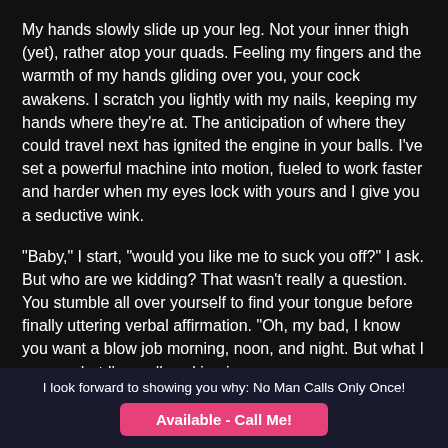My hands slowly slide up your leg. Not your inner thigh (yet), rather atop your quads. Feeling my fingers and the warmth of my hands gliding over you, your cock awakens. I scratch you lightly with my nails, keeping my hands where they're at. The anticipation of where they could travel next has ignited the engine in your balls. I've set a powerful machine into motion, fueled to work faster and harder when my eyes lock with yours and I give you a seductive wink.
“Baby,” I start, “would you like me to suck you off?” I ask. But who are we kidding? That wasn’t really a question. You stumble all over yourself to find your tongue before finally uttering verbal affirmation. “Oh, my bad, I know you want a blow job morning, noon, and night. But what I guess what I’m really asking is
I look forward to showing you why: No Man Calls Only Once!
Available - Call Me!